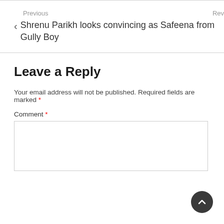Previous
< Shrenu Parikh looks convincing as Safeena from Gully Boy
Leave a Reply
Your email address will not be published. Required fields are marked *
Comment *